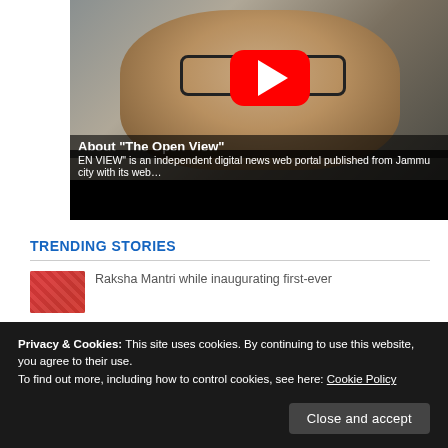[Figure (screenshot): YouTube video thumbnail showing a man with glasses and earphones speaking, with a red YouTube play button overlaid. Subtitle text reads 'About "The Open View"' and 'EN VIEW" is an independent digital news web portal published from Jammu city with its web...']
TRENDING STORIES
Raksha Mantri while inaugurating first-ever
Privacy & Cookies: This site uses cookies. By continuing to use this website, you agree to their use.
To find out more, including how to control cookies, see here: Cookie Policy
Close and accept